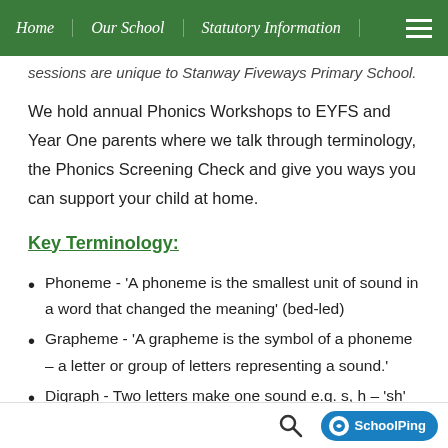Home | Our School | Statutory Information
sessions are unique to Stanway Fiveways Primary School.
We hold annual Phonics Workshops to EYFS and Year One parents where we talk through terminology, the Phonics Screening Check and give you ways you can support your child at home.
Key Terminology:
Phoneme - ‘A phoneme is the smallest unit of sound in a word that changed the meaning’ (bed-led)
Grapheme - ‘A grapheme is the symbol of a phoneme – a letter or group of letters representing a sound.’
Digraph - Two letters make one sound e.g. s, h – ‘sh’ ship